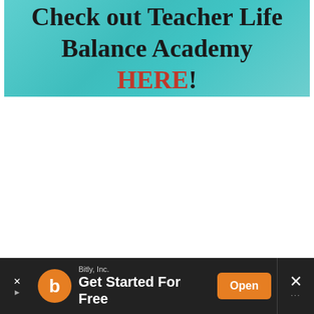[Figure (infographic): Teal gradient banner with bold text reading 'Check out Teacher Life Balance Academy HERE!' where HERE is in orange/red color.]
[Figure (infographic): Dark advertisement bar at the bottom for Bitly, Inc. with orange logo circle containing 'b', text 'Get Started For Free', an orange 'Open' button, and close/dismiss controls.]